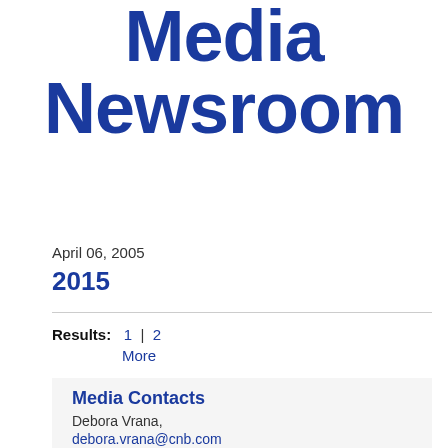Media Newsroom
April 06, 2005
2015
Results: 1 | 2
More
Media Contacts
Debora Vrana,
debora.vrana@cnb.com